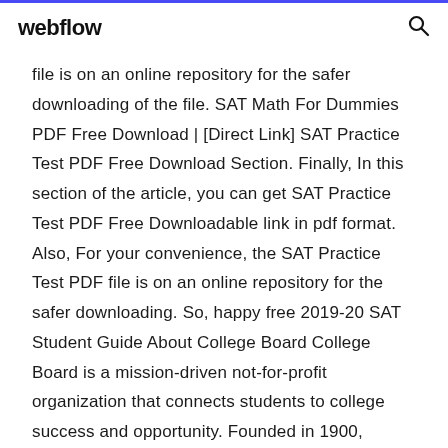webflow
file is on an online repository for the safer downloading of the file. SAT Math For Dummies PDF Free Download | [Direct Link] SAT Practice Test PDF Free Download Section. Finally, In this section of the article, you can get SAT Practice Test PDF Free Downloadable link in pdf format. Also, For your convenience, the SAT Practice Test PDF file is on an online repository for the safer downloading. So, happy free 2019-20 SAT Student Guide About College Board College Board is a mission-driven not-for-profit organization that connects students to college success and opportunity. Founded in 1900, College Board was created to expand access to higher education. Today, the membership